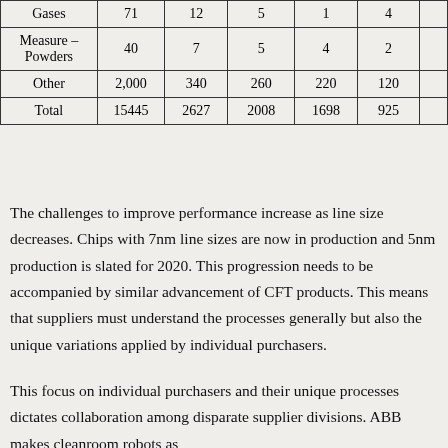|  |  |  |  |  |  |
| --- | --- | --- | --- | --- | --- |
| Gases | 71 | 12 | 5 | 1 | 4 |
| Measure –
Powders | 40 | 7 | 5 | 4 | 2 |
| Other | 2,000 | 340 | 260 | 220 | 120 |
| Total | 15445 | 2627 | 2008 | 1698 | 925 |
The challenges to improve performance increase as line size decreases. Chips with 7nm line sizes are now in production and 5nm production is slated for 2020. This progression needs to be accompanied by similar advancement of CFT products. This means that suppliers must understand the processes generally but also the unique variations applied by individual purchasers.
This focus on individual purchasers and their unique processes dictates collaboration among disparate supplier divisions. ABB makes cleanroom robots as